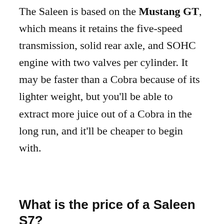The Saleen is based on the Mustang GT, which means it retains the five-speed transmission, solid rear axle, and SOHC engine with two valves per cylinder. It may be faster than a Cobra because of its lighter weight, but you'll be able to extract more juice out of a Cobra in the long run, and it'll be cheaper to begin with.
What is the price of a Saleen S7?
There aren't many Saleen S7s on the market right